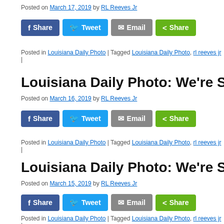Posted on March 17, 2019 by RL Reeves Jr
[Figure (screenshot): Social share buttons: Facebook Share, Twitter Tweet, Email, Share]
Posted in Louisiana Daily Photo | Tagged Louisiana Daily Photo, rl reeves jr |
Louisiana Daily Photo: We're Spending A…
Posted on March 16, 2019 by RL Reeves Jr
[Figure (screenshot): Social share buttons: Facebook Share, Twitter Tweet, Email, Share]
Posted in Louisiana Daily Photo | Tagged Louisiana Daily Photo, rl reeves jr |
Louisiana Daily Photo: We're Spending A…
Posted on March 15, 2019 by RL Reeves Jr
[Figure (screenshot): Social share buttons: Facebook Share, Twitter Tweet, Email, Share]
Posted in Louisiana Daily Photo | Tagged Louisiana Daily Photo, rl reeves jr |